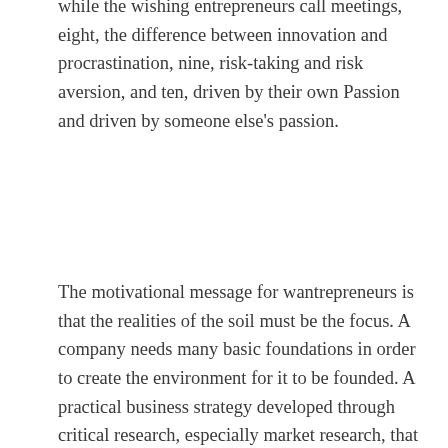while the wishing entrepreneurs call meetings, eight, the difference between innovation and procrastination, nine, risk-taking and risk aversion, and ten, driven by their own Passion and driven by someone else's passion.
The motivational message for wantrepreneurs is that the realities of the soil must be the focus. A company needs many basic foundations in order to create the environment for it to be founded. A practical business strategy developed through critical research, especially market research, that includes seeking advice and advice, complemented by a thorough analysis of the data available and, more importantly, calibrated and prudent financial management, is essential and a mandatory component.
The responsibility for advancing into the ranks of entrepreneurs rests with the academic institutions, which must also arouse this enthusiasm in entrepreneurs during their school days. Then it is up to the corporate organizations to set up mentoring and